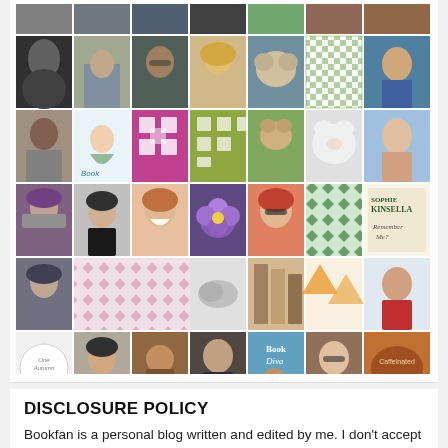[Figure (photo): A grid of avatar/profile images for blog followers, arranged in rows of 7 thumbnails each. Multiple rows visible, showing various people's photos, illustrations, and decorative patterns.]
DISCLOSURE POLICY
Bookfan is a personal blog written and edited by me. I don't accept any form of cash advertising, sponsorship, or paid topic insertions. I do accept books